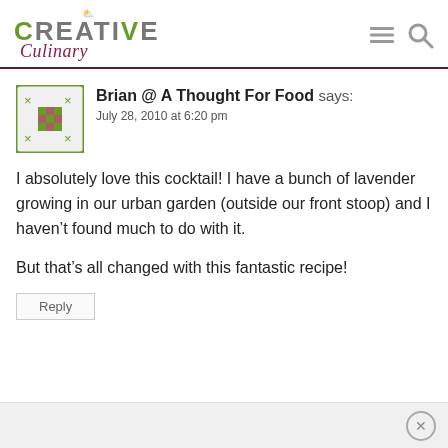Creative Culinary
Brian @ A Thought For Food says:
July 28, 2010 at 6:20 pm
I absolutely love this cocktail! I have a bunch of lavender growing in our urban garden (outside our front stoop) and I haven't found much to do with it.

But that's all changed with this fantastic recipe!
Reply